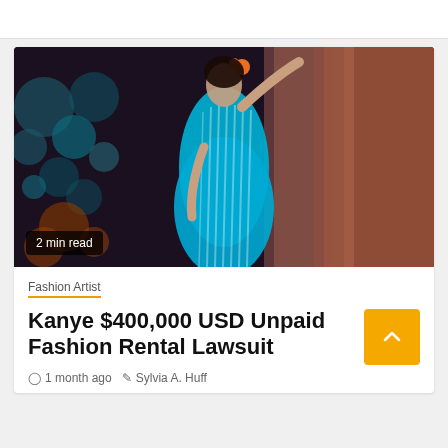[Figure (photo): Woman in blue striped maxi dress leaning against a wall at night with bokeh background]
2 min read
Fashion Artist
Kanye $400,000 USD Unpaid Fashion Rental Lawsuit
1 month ago  Sylvia A. Huff